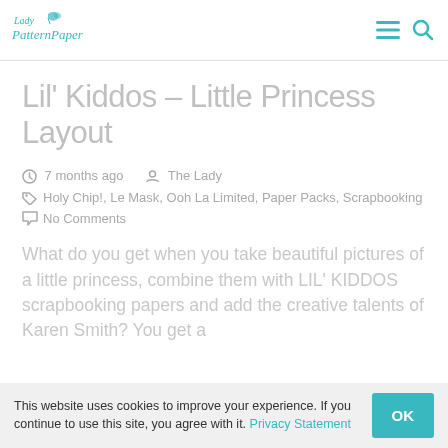Lady PatternPaper
Lil' Kiddos – Little Princess Layout
7 months ago   The Lady
Holy Chip!, Le Mask, Ooh La Limited, Paper Packs, Scrapbooking
No Comments
What do you get when you take beautiful pictures of a little princess, combine them with LIL' KIDDOS scrapbooking papers and add the creative talents of Karen Smith You get a
This website uses cookies to improve your experience. If you continue to use this site, you agree with it. Privacy Statement